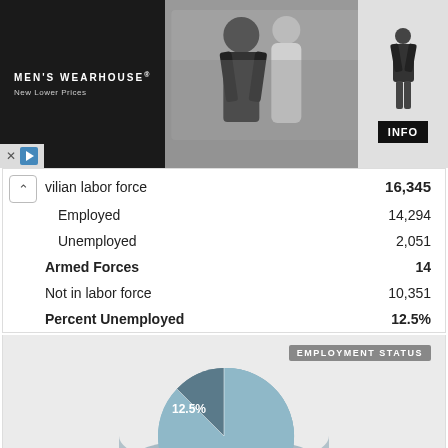[Figure (photo): Men's Wearhouse advertisement banner featuring a couple in formalwear and a boy in a suit, with INFO button]
| Category | Value |
| --- | --- |
| Civilian labor force | 16,345 |
| Employed | 14,294 |
| Unemployed | 2,051 |
| Armed Forces | 14 |
| Not in labor force | 10,351 |
| Percent Unemployed | 12.5% |
[Figure (pie-chart): EMPLOYMENT STATUS]